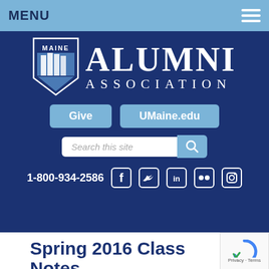MENU
[Figure (logo): Maine Alumni Association logo with shield and text ALUMNI ASSOCIATION]
Give   UMaine.edu
Search this site
1-800-934-2586
Spring 2016 Class Notes